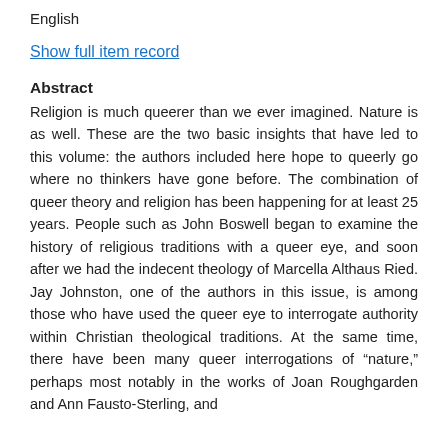English
Show full item record
Abstract
Religion is much queerer than we ever imagined. Nature is as well. These are the two basic insights that have led to this volume: the authors included here hope to queerly go where no thinkers have gone before. The combination of queer theory and religion has been happening for at least 25 years. People such as John Boswell began to examine the history of religious traditions with a queer eye, and soon after we had the indecent theology of Marcella Althaus Ried. Jay Johnston, one of the authors in this issue, is among those who have used the queer eye to interrogate authority within Christian theological traditions. At the same time, there have been many queer interrogations of “nature,” perhaps most notably in the works of Joan Roughgarden and Ann Fausto-Sterling, and